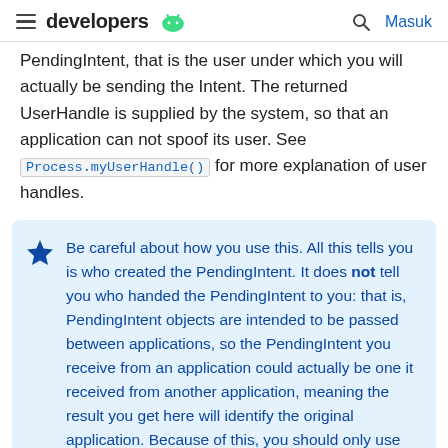developers
PendingIntent, that is the user under which you will actually be sending the Intent. The returned UserHandle is supplied by the system, so that an application can not spoof its user. See Process.myUserHandle() for more explanation of user handles.
Be careful about how you use this. All this tells you is who created the PendingIntent. It does not tell you who handed the PendingIntent to you: that is, PendingIntent objects are intended to be passed between applications, so the PendingIntent you receive from an application could actually be one it received from another application, meaning the result you get here will identify the original application. Because of this, you should only use this information to identify who you expect to be interacting with